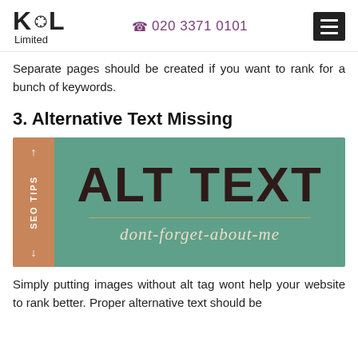KOL Limited   020 3371 0101
Separate pages should be created if you want to rank for a bunch of keywords.
3. Alternative Text Missing
[Figure (illustration): Decorative graphic with teal background showing 'ALT TEXT' in large dark bold letters, below a horizontal divider line and the italic text 'dont-forget-about-me'. A salmon/orange sidebar on the left reads 'SEO TIPS' vertically with arrows.]
Simply putting images without alt tag wont help your website to rank better. Proper alternative text should be